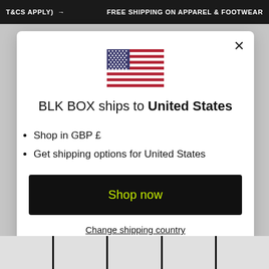T&CS APPLY) → FREE SHIPPING ON APPAREL & FOOTWEAR
[Figure (illustration): US flag emoji/icon centered in modal]
BLK BOX ships to United States
Shop in GBP £
Get shipping options for United States
Shop now
Change shipping country